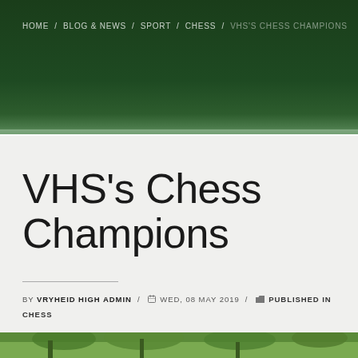HOME / BLOG & NEWS / SPORT / CHESS / VHS'S CHESS CHAMPIONS
VHS’s Chess Champions
BY VRYHEID HIGH ADMIN / WED, 08 MAY 2019 / PUBLISHED IN CHESS
[Figure (photo): Outdoor photo with green foliage and trees visible at the bottom of the page]